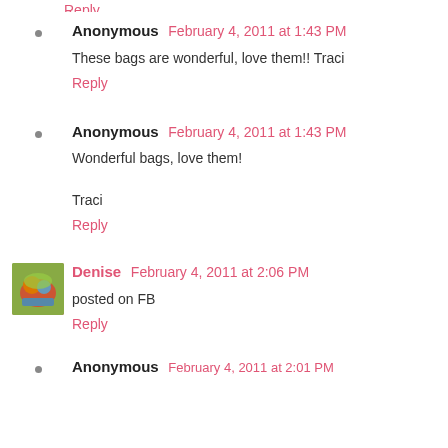Anonymous February 4, 2011 at 1:43 PM
These bags are wonderful, love them!! Traci
Reply
Anonymous February 4, 2011 at 1:43 PM
Wonderful bags, love them!
Traci
Reply
Denise February 4, 2011 at 2:06 PM
posted on FB
Reply
Anonymous February 4, 2011 at 2:01 PM (partial)